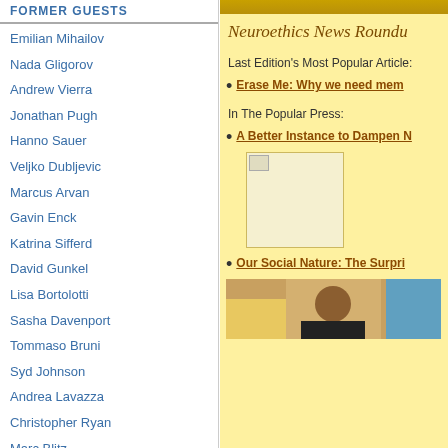FORMER GUESTS
Emilian Mihailov
Nada Gligorov
Andrew Vierra
Jonathan Pugh
Hanno Sauer
Veljko Dubljevic
Marcus Arvan
Gavin Enck
Katrina Sifferd
David Gunkel
Lisa Bortolotti
Sasha Davenport
Tommaso Bruni
Syd Johnson
Andrea Lavazza
Christopher Ryan
Marc Blitz
Neuroethics News Roundu
Last Edition's Most Popular Article:
Erase Me: Why we need mem
In The Popular Press:
A Better Instance to Dampen N
[Figure (photo): Small image placeholder with broken image icon]
Our Social Nature: The Surpri
[Figure (photo): Photo of a child, colorful background]